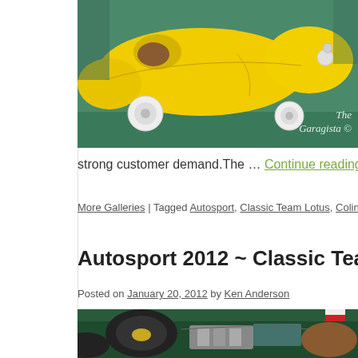[Figure (photo): Yellow streamlined vintage car on green background display floor, with 'The Garagista' watermark in lower right]
strong customer demand.The … Continue reading →
More Galleries | Tagged Autosport, Classic Team Lotus, Colin Chapman, Coventry C…
Autosport 2012 ~ Classic Team Lotus Displa…
Posted on January 20, 2012 by Ken Anderson
[Figure (photo): Green vintage Lotus racing car with exposed engine, viewed from above at an auto show]